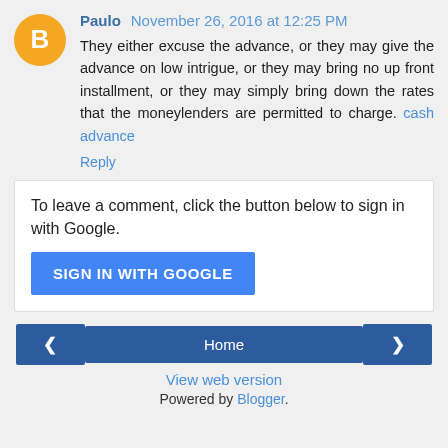Paulo November 26, 2016 at 12:25 PM
They either excuse the advance, or they may give the advance on low intrigue, or they may bring no up front installment, or they may simply bring down the rates that the moneylenders are permitted to charge. cash advance
Reply
To leave a comment, click the button below to sign in with Google.
[Figure (other): SIGN IN WITH GOOGLE button (blue button with white text)]
[Figure (other): Navigation bar with left arrow button, Home button, and right arrow button]
View web version
Powered by Blogger.